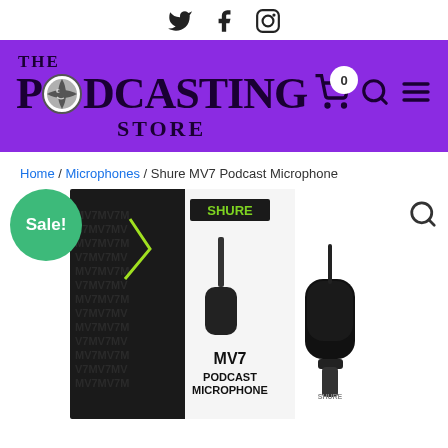[Figure (other): Social media icons: Twitter (bird), Facebook (f), Instagram (camera) in the top header bar]
[Figure (logo): The Podcasting Store logo on purple background with globe icon replacing the O in Podcasting]
Home / Microphones / Shure MV7 Podcast Microphone
Sale!
[Figure (photo): Shure MV7 Podcast Microphone product image showing box packaging on left and standalone microphone on right against white background]